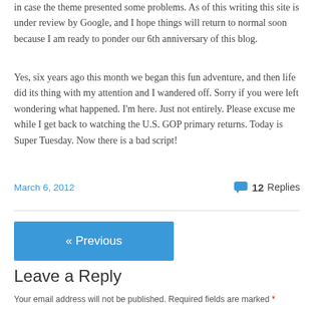in case the theme presented some problems. As of this writing this site is under review by Google, and I hope things will return to normal soon because I am ready to ponder our 6th anniversary of this blog.
Yes, six years ago this month we began this fun adventure, and then life did its thing with my attention and I wandered off. Sorry if you were left wondering what happened. I'm here. Just not entirely. Please excuse me while I get back to watching the U.S. GOP primary returns. Today is Super Tuesday. Now there is a bad script!
March 6, 2012   12 Replies
« Previous
Leave a Reply
Your email address will not be published. Required fields are marked *